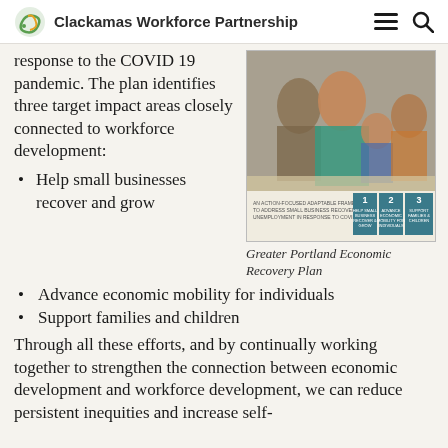Clackamas Workforce Partnership
response to the COVID 19 pandemic. The plan identifies three target impact areas closely connected to workforce development:
[Figure (photo): Cover image of the Greater Portland Economic Recovery Plan showing a family at a table and numbered impact areas 1, 2, 3]
Greater Portland Economic Recovery Plan
Help small businesses recover and grow
Advance economic mobility for individuals
Support families and children
Through all these efforts, and by continually working together to strengthen the connection between economic development and workforce development, we can reduce persistent inequities and increase self-